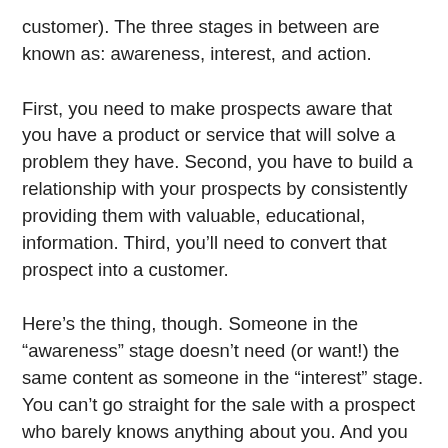customer). The three stages in between are known as: awareness, interest, and action.
First, you need to make prospects aware that you have a product or service that will solve a problem they have. Second, you have to build a relationship with your prospects by consistently providing them with valuable, educational, information. Third, you’ll need to convert that prospect into a customer.
Here’s the thing, though. Someone in the “awareness” stage doesn’t need (or want!) the same content as someone in the “interest” stage. You can’t go straight for the sale with a prospect who barely knows anything about you. And you also don’t want to send an introductory blog post to a subscriber who has been on your email list for months.